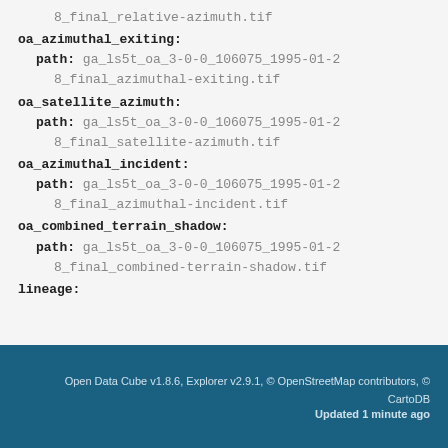8_final_relative-azimuth.tif
oa_azimuthal_exiting:
  path: ga_ls5t_oa_3-0-0_106075_1995-01-28_final_azimuthal-exiting.tif
oa_satellite_azimuth:
  path: ga_ls5t_oa_3-0-0_106075_1995-01-28_final_satellite-azimuth.tif
oa_azimuthal_incident:
  path: ga_ls5t_oa_3-0-0_106075_1995-01-28_final_azimuthal-incident.tif
oa_combined_terrain_shadow:
  path: ga_ls5t_oa_3-0-0_106075_1995-01-28_final_combined-terrain-shadow.tif
lineage:
Open Data Cube v1.8.6, Explorer v2.9.1, © OpenStreetMap contributors, © CartoDB
Updated 1 minute ago